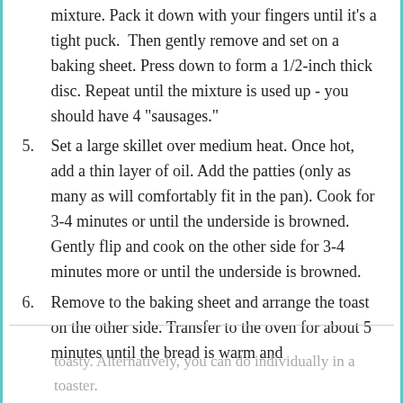mixture. Pack it down with your fingers until it's a tight puck.  Then gently remove and set on a baking sheet. Press down to form a 1/2-inch thick disc. Repeat until the mixture is used up - you should have 4 "sausages."
5. Set a large skillet over medium heat. Once hot, add a thin layer of oil. Add the patties (only as many as will comfortably fit in the pan). Cook for 3-4 minutes or until the underside is browned. Gently flip and cook on the other side for 3-4 minutes more or until the underside is browned.
6. Remove to the baking sheet and arrange the toast on the other side. Transfer to the oven for about 5 minutes until the bread is warm and toasty. Alternatively, you can do individually in a toaster.